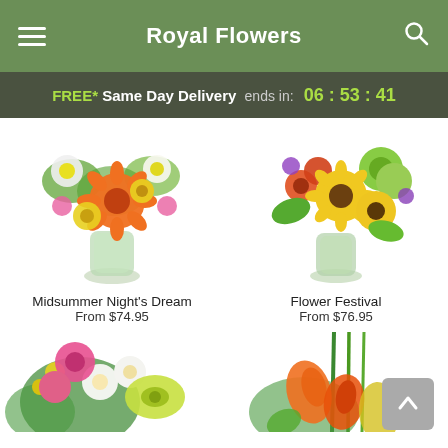Royal Flowers
FREE* Same Day Delivery ends in: 06 : 53 : 41
[Figure (photo): Midsummer Night's Dream flower arrangement in glass vase with orange gerbera daisies, white flowers, and greenery]
Midsummer Night's Dream
From $74.95
[Figure (photo): Flower Festival arrangement in glass vase with yellow sunflowers, orange flowers, and green spider mums]
Flower Festival
From $76.95
[Figure (photo): Partial view of pink roses, white alstroemeria, and yellow-green orchid arrangement]
[Figure (photo): Partial view of orange calla lilies and tall green stems arrangement]